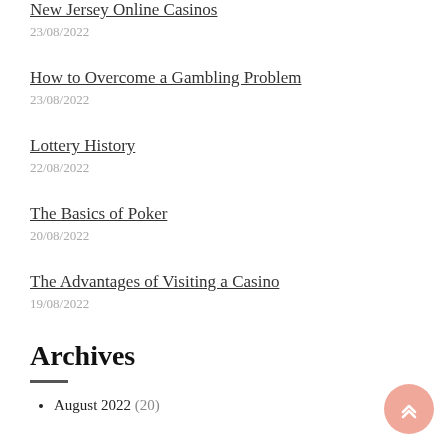New Jersey Online Casinos
23/08/2022
How to Overcome a Gambling Problem
23/08/2022
Lottery History
22/08/2022
The Basics of Poker
20/08/2022
The Advantages of Visiting a Casino
19/08/2022
Archives
August 2022 (20)